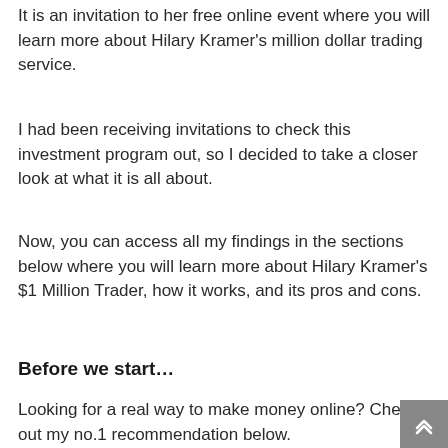It is an invitation to her free online event where you will learn more about Hilary Kramer's million dollar trading service.
I had been receiving invitations to check this investment program out, so I decided to take a closer look at what it is all about.
Now, you can access all my findings in the sections below where you will learn more about Hilary Kramer's $1 Million Trader, how it works, and its pros and cons.
Before we start…
Looking for a real way to make money online? Check out my no.1 recommendation below.
It's made us over $124,000 in the last 3 months alone:
Go here to see my no.1 recommendation for